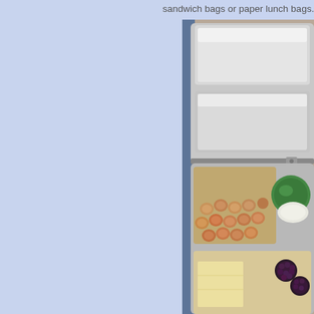sandwich bags or paper lunch bags. An
[Figure (photo): A stainless steel bento-style lunch box with multiple compartments open, containing nuts (hazelnuts/chickpeas) in one section, what appears to be cheese and blackberries in another section, and empty compartments above. A green-lidded small container is visible. The box sits on a granite countertop with a blue lunch bag visible on the side.]